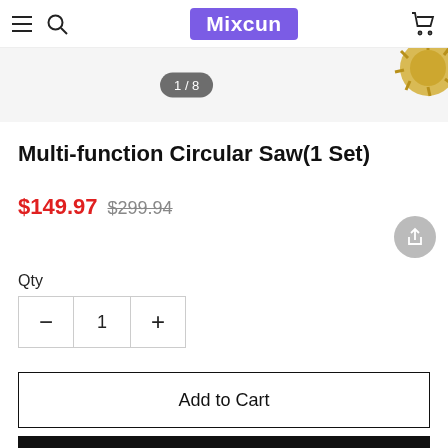Mixcun
[Figure (screenshot): Product image strip showing 1/8 indicator badge and partial gear/saw blade image on the right]
Multi-function Circular Saw(1 Set)
$149.97  $299.94
Qty
- 1 +
Add to Cart
Buy Now